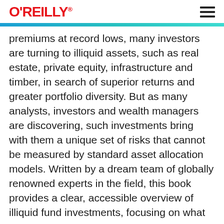O'REILLY
premiums at record lows, many investors are turning to illiquid assets, such as real estate, private equity, infrastructure and timber, in search of superior returns and greater portfolio diversity. But as many analysts, investors and wealth managers are discovering, such investments bring with them a unique set of risks that cannot be measured by standard asset allocation models. Written by a dream team of globally renowned experts in the field, this book provides a clear, accessible overview of illiquid fund investments, focusing on what